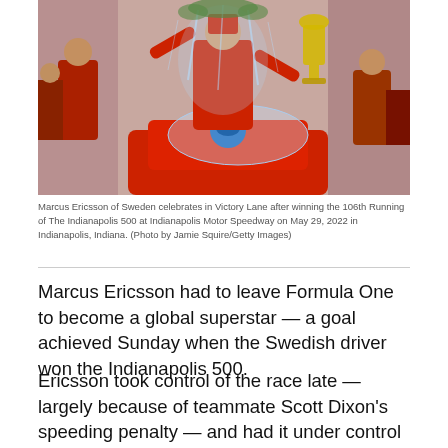[Figure (photo): Marcus Ericsson celebrates in Victory Lane after winning the 106th Running of The Indianapolis 500, sprayed with liquid, surrounded by team members in red, with a trophy visible.]
Marcus Ericsson of Sweden celebrates in Victory Lane after winning the 106th Running of The Indianapolis 500 at Indianapolis Motor Speedway on May 29, 2022 in Indianapolis, Indiana. (Photo by Jamie Squire/Getty Images)
Marcus Ericsson had to leave Formula One to become a global superstar — a goal achieved Sunday when the Swedish driver won the Indianapolis 500.
Ericsson took control of the race late — largely because of teammate Scott Dixon's speeding penalty — and had it under control for Chip Ganassi Racing until a crash by teammate Jimmie Johnson with four